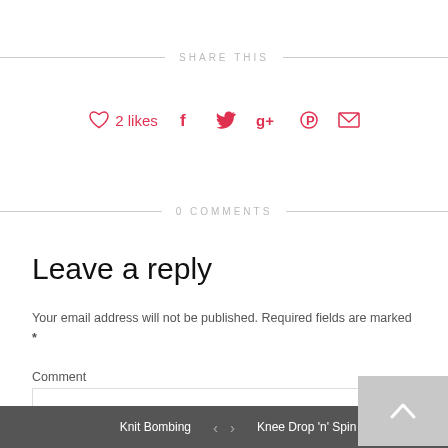SHARE THIS
♡ 2 likes  f  🐦  g+   pinterest  ✉
0 COMMENTS
Leave a reply
Your email address will not be published. Required fields are marked *
Comment
Knit Bombing  <  >  Knee Drop 'n' Spin